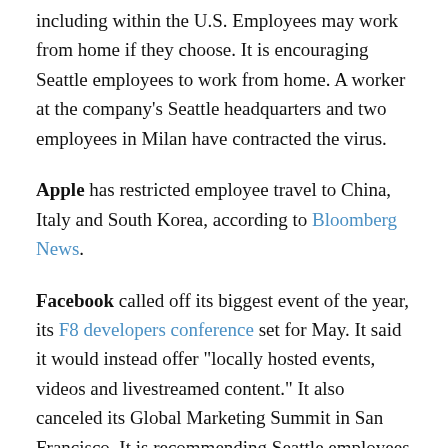including within the U.S. Employees may work from home if they choose. It is encouraging Seattle employees to work from home. A worker at the company's Seattle headquarters and two employees in Milan have contracted the virus.
Apple has restricted employee travel to China, Italy and South Korea, according to Bloomberg News.
Facebook called off its biggest event of the year, its F8 developers conference set for May. It said it would instead offer "locally hosted events, videos and livestreamed content." It also canceled its Global Marketing Summit in San Francisco. It is recommending Seattle employees work from home after a contractor in a Seattle office was diagnosed with the virus.
Google called off its flagship developers conference, I/O,